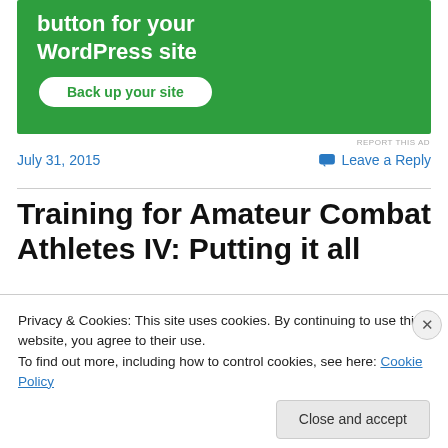[Figure (screenshot): Green advertisement banner with white text 'button for your WordPress site' and a white rounded button 'Back up your site']
REPORT THIS AD
July 31, 2015
Leave a Reply
Training for Amateur Combat Athletes IV: Putting it all
Privacy & Cookies: This site uses cookies. By continuing to use this website, you agree to their use.
To find out more, including how to control cookies, see here: Cookie Policy
Close and accept